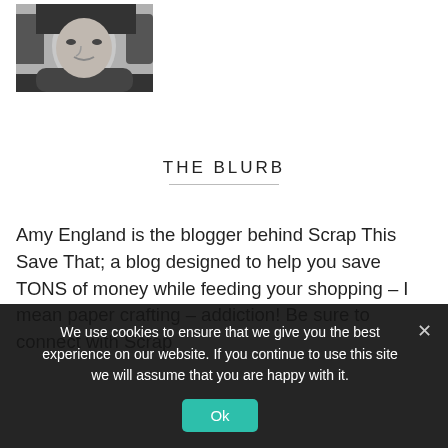[Figure (photo): Black and white portrait photo of a woman with dark hair, looking slightly to the side]
THE BLURB
Amy England is the blogger behind Scrap This Save That; a blog designed to help you save TONS of money while feeding your shopping – I mean paper crafting – addiction! Be sure to connect with Scrap
We use cookies to ensure that we give you the best experience on our website. If you continue to use this site we will assume that you are happy with it.